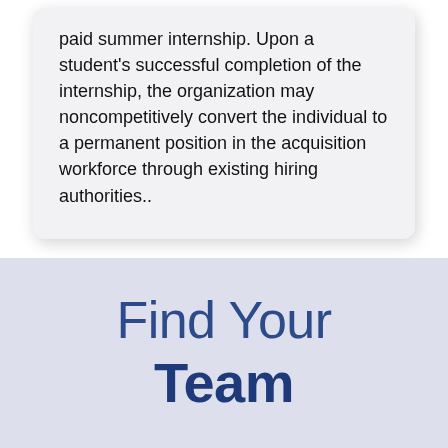paid summer internship. Upon a student's successful completion of the internship, the organization may noncompetitively convert the individual to a permanent position in the acquisition workforce through existing hiring authorities..
Find Your Team